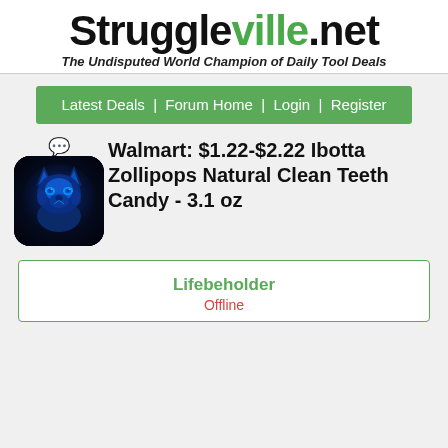Struggleville.net - The Undisputed World Champion of Daily Tool Deals
Latest Deals | Forum Home | Login | Register
[Figure (illustration): Blue glowing wolf avatar with dark background, rounded square frame]
Walmart: $1.22-$2.22 Ibotta Zollipops Natural Clean Teeth Candy - 3.1 oz
Lifebeholder
Offline